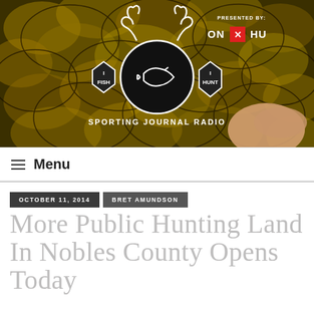[Figure (photo): Sporting Journal Radio banner with close-up fish scale background (yellow/green/black). Center logo shows circular emblem with fish icon, flanked by 'I FISH' and 'I HUNT' shield badges. Text 'SPORTING JOURNAL RADIO' below. Top right shows 'PRESENTED BY: ON X HUNT' with red X badge.]
≡ Menu
OCTOBER 11, 2014  BRET AMUNDSON
More Public Hunting Land In Nobles County Opens Today